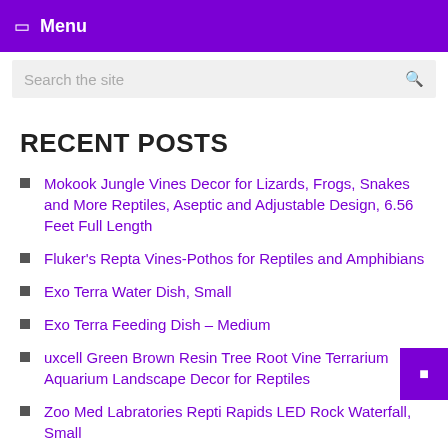Menu
Search the site
RECENT POSTS
Mokook Jungle Vines Decor for Lizards, Frogs, Snakes and More Reptiles, Aseptic and Adjustable Design, 6.56 Feet Full Length
Fluker's Repta Vines-Pothos for Reptiles and Amphibians
Exo Terra Water Dish, Small
Exo Terra Feeding Dish – Medium
uxcell Green Brown Resin Tree Root Vine Terrarium Aquarium Landscape Decor for Reptiles
Zoo Med Labratories Repti Rapids LED Rock Waterfall, Small